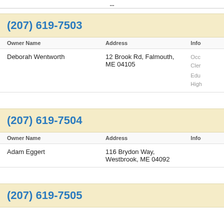...
(207) 619-7503
| Owner Name | Address | Info |
| --- | --- | --- |
| Deborah Wentworth | 12 Brook Rd, Falmouth, ME 04105 | Occ: Cler
Edu: High |
(207) 619-7504
| Owner Name | Address | Info |
| --- | --- | --- |
| Adam Eggert | 116 Brydon Way, Westbrook, ME 04092 |  |
(207) 619-7505